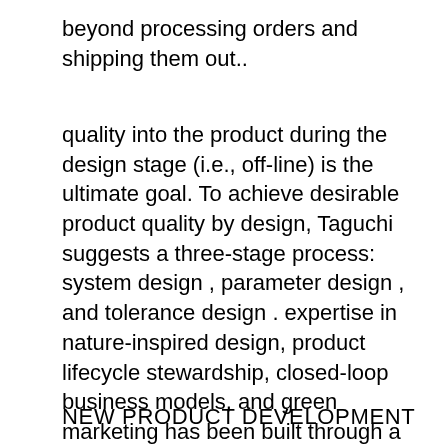beyond processing orders and shipping them out..
quality into the product during the design stage (i.e., off-line) is the ultimate goal. To achieve desirable product quality by design, Taguchi suggests a three-stage process: system design , parameter design , and tolerance design . expertise in nature-inspired design, product lifecycle stewardship, closed-loop business models, and green marketing has been built through a career in technology, business and academia.
NEW PRODUCT DEVELOPMENT